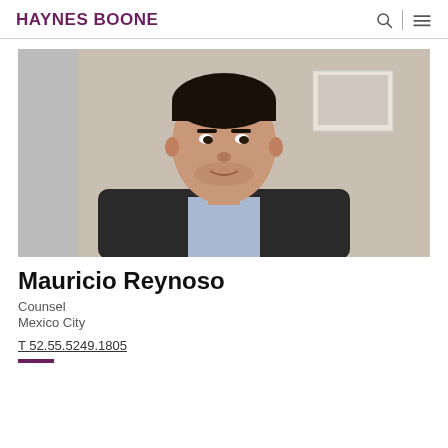HAYNES BOONE
[Figure (photo): Professional headshot of Mauricio Reynoso, a man in a dark suit with light blue shirt, photographed indoors with a neutral background and a framed picture on the wall behind him.]
Mauricio Reynoso
Counsel
Mexico City
T 52.55.5249.1805